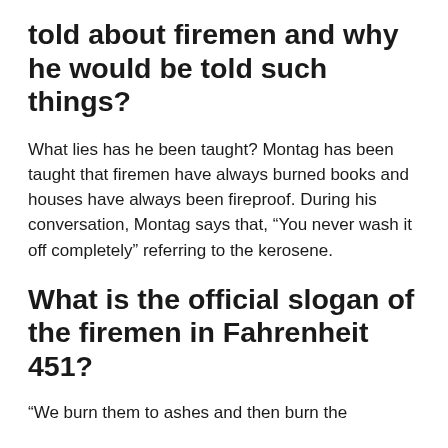told about firemen and why he would be told such things?
What lies has he been taught? Montag has been taught that firemen have always burned books and houses have always been fireproof. During his conversation, Montag says that, “You never wash it off completely” referring to the kerosene.
What is the official slogan of the firemen in Fahrenheit 451?
“We burn them to ashes and then burn the